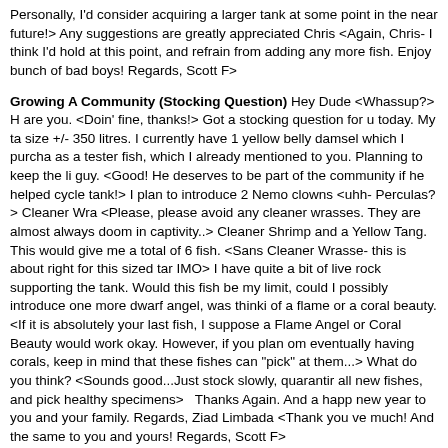Personally, I'd consider acquiring a larger tank at some point in the near future!> Any suggestions are greatly appreciated Chris <Again, Chris- I think I'd hold at this point, and refrain from adding any more fish. Enjoy bunch of bad boys! Regards, Scott F>
Growing A Community (Stocking Question) Hey Dude <Whassup?> How are you. <Doin' fine, thanks!> Got a stocking question for u today. My tank size +/- 350 litres. I currently have 1 yellow belly damsel which I purchased as a tester fish, which I already mentioned to you. Planning to keep the little guy. <Good! He deserves to be part of the community if he helped cycle the tank!> I plan to introduce 2 Nemo clowns <uhh- Perculas?> Cleaner Wrasse <Please, please avoid any cleaner wrasses. They are almost always doomed in captivity..> Cleaner Shrimp and a Yellow Tang. This would give me a total of 6 fish. <Sans Cleaner Wrasse- this is about right for this sized tank IMO> I have quite a bit of live rock supporting the tank. Would this fish be my limit, could I possibly introduce one more dwarf angel, was thinking of a flame or a coral beauty. <If it is absolutely your last fish, I suppose a Flame Angel or Coral Beauty would work okay. However, if you plan on eventually having corals, keep in mind that these fishes can "pick" at them...> What do you think? <Sounds good...Just stock slowly, quarantine all new fishes, and pick healthy specimens>   Thanks Again. And a happy new year to you and your family. Regards, Ziad Limbada <Thank you very much! And the same to you and yours! Regards, Scott F>
- Tank Mates - Hi there, Hope you had a good Christmas!! I am looking to add a new fish to my tank, at the moment I have a lionfish and a gold spotted eel. I have plenty of room for another potentially large fish. I think I've